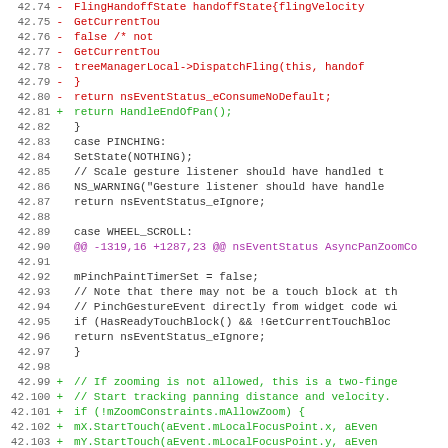[Figure (screenshot): Code diff viewer showing lines 42.74 through 42.106, with removed lines in red (prefixed with -), added lines in green (prefixed with +), context lines in black, and a diff hunk header in purple. The code relates to gesture/touch handling in a C++ source file.]